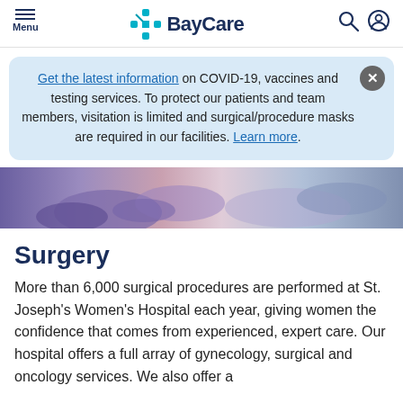Menu | BayCare
Get the latest information on COVID-19, vaccines and testing services. To protect our patients and team members, visitation is limited and surgical/procedure masks are required in our facilities. Learn more.
[Figure (photo): Medical staff performing a procedure, close-up of hands with purple gloves]
Surgery
More than 6,000 surgical procedures are performed at St. Joseph's Women's Hospital each year, giving women the confidence that comes from experienced, expert care. Our hospital offers a full array of gynecology, surgical and oncology services. We also offer a